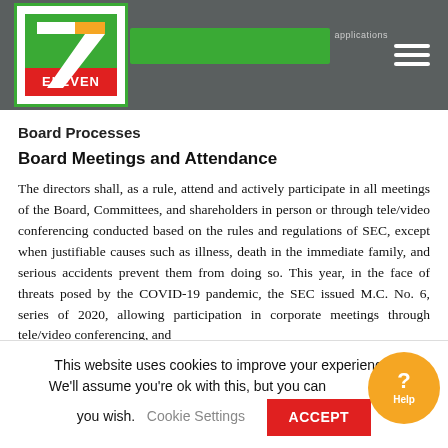[Figure (logo): 7-Eleven logo in green border box on dark grey header bar with hamburger menu icon]
Board Processes
Board Meetings and Attendance
The directors shall, as a rule, attend and actively participate in all meetings of the Board, Committees, and shareholders in person or through tele/video conferencing conducted based on the rules and regulations of SEC, except when justifiable causes such as illness, death in the immediate family, and serious accidents prevent them from doing so. This year, in the face of threats posed by the COVID-19 pandemic, the SEC issued M.C. No. 6, series of 2020, allowing participation in corporate meetings through tele/video conferencing, and
This website uses cookies to improve your experience. We'll assume you're ok with this, but you can opt-out if you wish. Cookie Settings ACCEPT